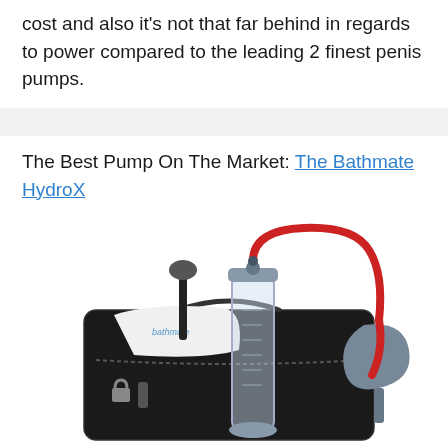cost and also it's not that far behind in regards to power compared to the leading 2 finest penis pumps.
The Best Pump On The Market: The Bathmate HydroX
[Figure (photo): Product photo of the Bathmate HydroX penis pump kit, showing a clear cylindrical pump with red hose, black carrying case, white cloth, cleaning brush, lock, and grey bulb pump accessory arranged on a white background.]